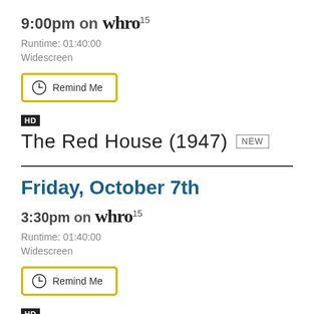9:00pm on WHRO15
Runtime: 01:40:00
Widescreen
[Figure (other): Remind Me button with clock icon and yellow border]
HD
The Red House (1947) NEW
Friday, October 7th
3:30pm on WHRO15
Runtime: 01:40:00
Widescreen
[Figure (other): Remind Me button with clock icon and yellow border]
HD
The Red House (1947)